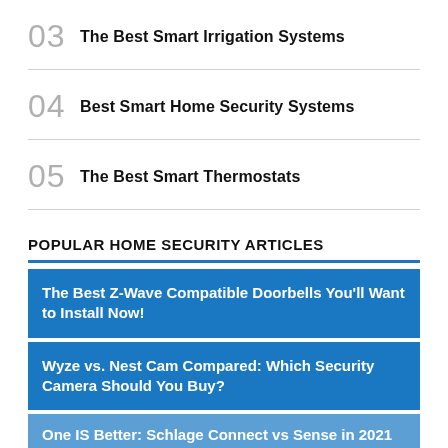03  The Best Smart Irrigation Systems
04  Best Smart Home Security Systems
05  The Best Smart Thermostats
POPULAR HOME SECURITY ARTICLES
The Best Z-Wave Compatible Doorbells You'll Want to Install Now!
Wyze vs. Nest Cam Compared: Which Security Camera Should You Buy?
One IS Better: Schlage Connect vs Sense in 2021